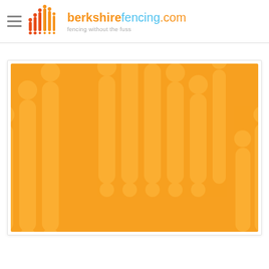berkshirefencing.com — fencing without the fuss
[Figure (logo): Berkshire Fencing logo with orange and red bar-chart style icon and tagline 'fencing without the fuss']
[Figure (illustration): Large orange banner/hero image with a lighter orange watermark of the berkshirefencing.com logo repeated at large scale as a decorative background element]